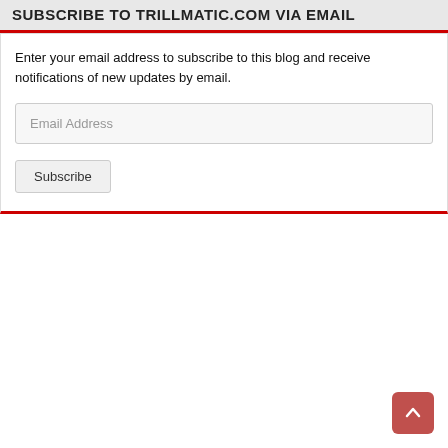SUBSCRIBE TO TRILLMATIC.COM VIA EMAIL
Enter your email address to subscribe to this blog and receive notifications of new updates by email.